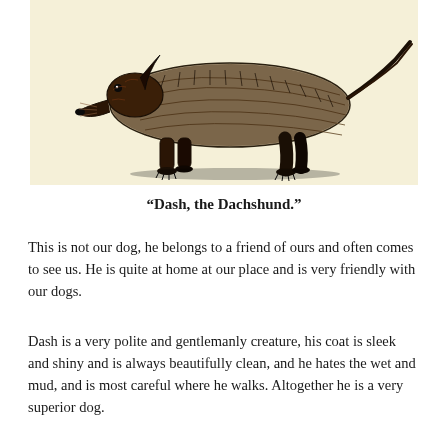[Figure (illustration): Vintage engraving illustration of a Dachshund dog (Dash) in profile view, on a cream/ivory background. The dog is shown with a long body, short legs, and a long snout typical of the breed.]
“Dash, the Dachshund.”
This is not our dog, he belongs to a friend of ours and often comes to see us. He is quite at home at our place and is very friendly with our dogs.
Dash is a very polite and gentlemanly creature, his coat is sleek and shiny and is always beautifully clean, and he hates the wet and mud, and is most careful where he walks. Altogether he is a very superior dog.